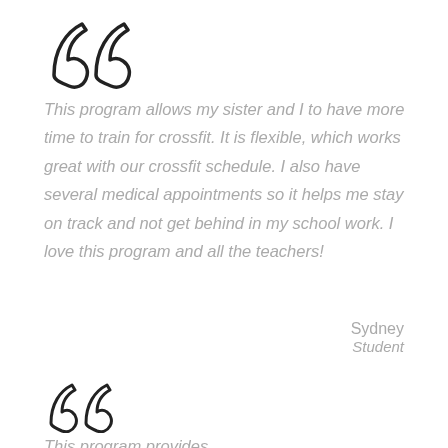[Figure (illustration): Large decorative opening quotation marks in black outline style]
This program allows my sister and I to have more time to train for crossfit. It is flexible, which works great with our crossfit schedule. I also have several medical appointments so it helps me stay on track and not get behind in my school work. I love this program and all the teachers!
Sydney
Student
[Figure (illustration): Large decorative opening quotation marks in black outline style, smaller than the first set]
This program provides...